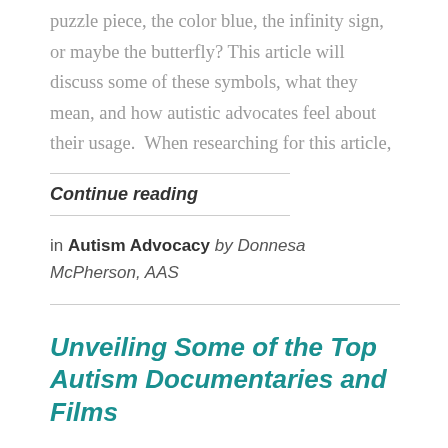puzzle piece, the color blue, the infinity sign, or maybe the butterfly? This article will discuss some of these symbols, what they mean, and how autistic advocates feel about their usage.  When researching for this article,
Continue reading
in Autism Advocacy by Donnesa McPherson, AAS
Unveiling Some of the Top Autism Documentaries and Films